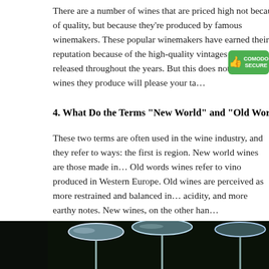There are a number of wines that are priced high not because of quality, but because they're produced by famous winemakers. These popular winemakers have earned their reputation because of the high-quality vintages they've released throughout the years. But this does not mean all the wines they produce will please your ta…
4. What Do the Terms “New World” and “Old World” Me…
These two terms are often used in the wine industry, and they refer to ways: the first is region. New world wines are those made in… Old words wines refer to vino produced in Western Europe. Old wines are perceived as more restrained and balanced in… acidity, and more earthy notes. New wines, on the other han…
[Figure (photo): Wine glasses upside down on a dark background, viewed from below showing the round bases, set against a dark green/black background.]